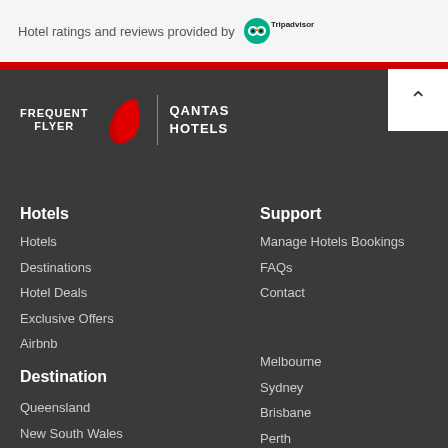Hotel ratings and reviews provided by Tripadvisor
[Figure (logo): Qantas Frequent Flyer | Qantas Hotels logo with kangaroo icon]
Hotels
Hotels
Destinations
Hotel Deals
Exclusive Offers
Airbnb
Support
Manage Hotels Bookings
FAQs
Contact
Destination
Queensland
New South Wales
Melbourne
Sydney
Brisbane
Perth